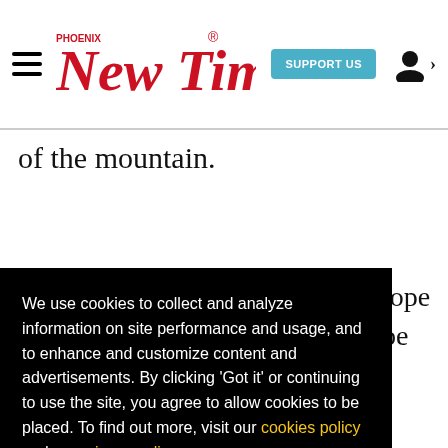Phoenix New Times | SUPPORT US
of the mountain.
We use cookies to collect and analyze information on site performance and usage, and to enhance and customize content and advertisements. By clicking 'Got it' or continuing to use the site, you agree to allow cookies to be placed. To find out more, visit our cookies policy and our privacy policy.
Got it!
slope
be
point
nes
the
air
s
societal pollution, including the recurring